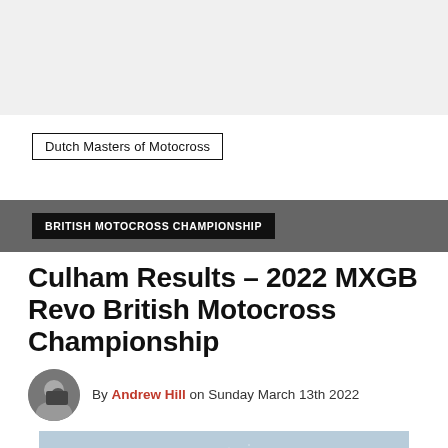[Figure (other): Top banner advertisement or header image area, light gray background]
Dutch Masters of Motocross
BRITISH MOTOCROSS CHAMPIONSHIP
Culham Results – 2022 MXGB Revo British Motocross Championship
By Andrew Hill on Sunday March 13th 2022
[Figure (photo): Action photo of motocross rider on a dirt track with sand flying]